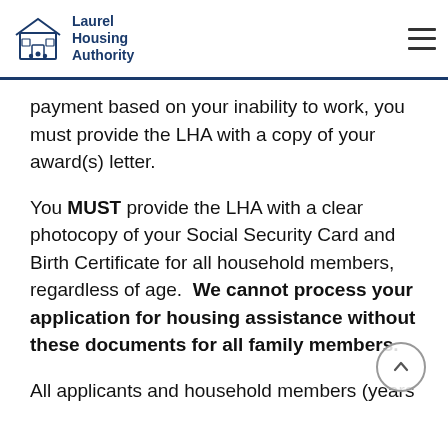Laurel Housing Authority
payment based on your inability to work, you must provide the LHA with a copy of your award(s) letter.
You MUST provide the LHA with a clear photocopy of your Social Security Card and Birth Certificate for all household members, regardless of age. We cannot process your application for housing assistance without these documents for all family members.
All applicants and household members (years